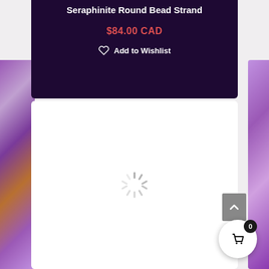Seraphinite Round Bead Strand
$84.00 CAD
Add to Wishlist
[Figure (photo): Purple/amethyst crystal beads visible on left and right sides of page]
[Figure (other): Loading spinner (rotating dashes) in white content area]
[Figure (other): Scroll-to-top button (grey rectangle with upward caret)]
[Figure (other): Shopping cart button circle with badge showing 0]